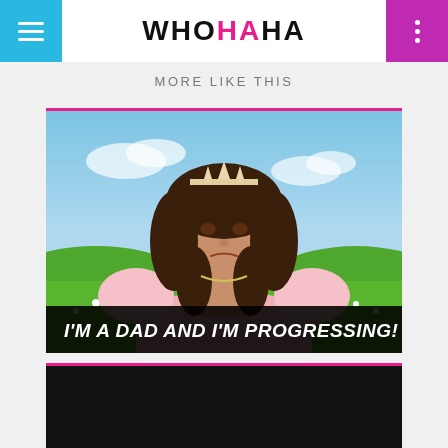WHOHAHA
MORE LIKE THIS
[Figure (photo): Young woman wearing a tiara and pink princess dress with an annoyed/grumpy expression, standing in a field of daisies with hills and blue sky in the background. Black banner at bottom reads: I'M A DAD AND I'M PROGRESSING!]
[Figure (photo): Partially visible second card showing a dark/black image at the bottom of the page]